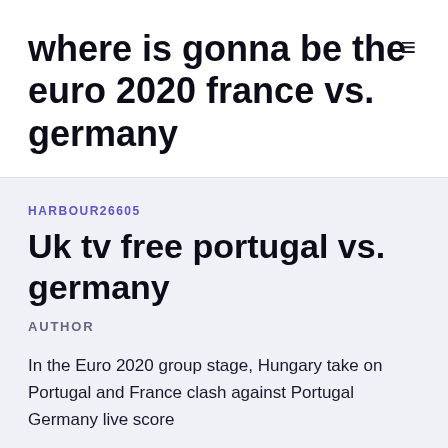where is gonna be the euro 2020 france vs. germany
HARBOUR26605
Uk tv free portugal vs. germany
AUTHOR
In the Euro 2020 group stage, Hungary take on Portugal and France clash against Portugal Germany live score